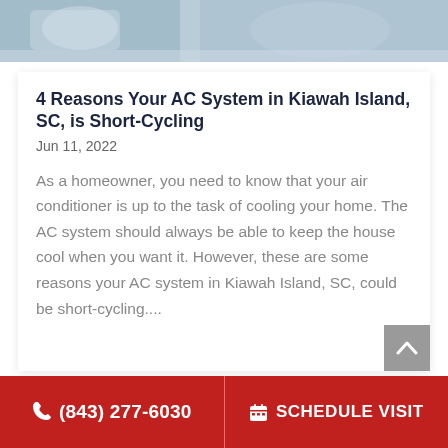[Figure (photo): Partial view of a person sitting, likely indoors, with blurred background]
4 Reasons Your AC System in Kiawah Island, SC, is Short-Cycling
Jun 11, 2022
As a homeowner, you need to know that your air conditioner is up to the task of cooling your home. The AC system should always be able to keep the house cool when you want it. However, these are some reasons your AC system in Kiawah Island, SC, could be short-cycling....
(843) 277-6030   SCHEDULE VISIT